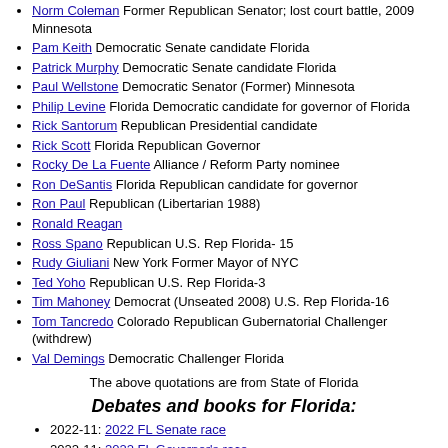Norm Coleman Former Republican Senator; lost court battle, 2009 Minnesota
Pam Keith Democratic Senate candidate Florida
Patrick Murphy Democratic Senate candidate Florida
Paul Wellstone Democratic Senator (Former) Minnesota
Philip Levine Florida Democratic candidate for governor of Florida
Rick Santorum Republican Presidential candidate
Rick Scott Florida Republican Governor
Rocky De La Fuente Alliance / Reform Party nominee
Ron DeSantis Florida Republican candidate for governor
Ron Paul Republican (Libertarian 1988)
Ronald Reagan
Ross Spano Republican U.S. Rep Florida- 15
Rudy Giuliani New York Former Mayor of NYC
Ted Yoho Republican U.S. Rep Florida-3
Tim Mahoney Democrat (Unseated 2008) U.S. Rep Florida-16
Tom Tancredo Colorado Republican Gubernatorial Challenger (withdrew)
Val Demings Democratic Challenger Florida
The above quotations are from State of Florida
Debates and books for Florida:
2022-11: 2022 FL Senate race
2022-11: 2022 FL Governor's race
2020-11: 2020 House FL elections
2019-11: Past and present Governor candidates
2019-10: It's How We Play the Game, by Ed
2019-06: June Democratic candidates debate